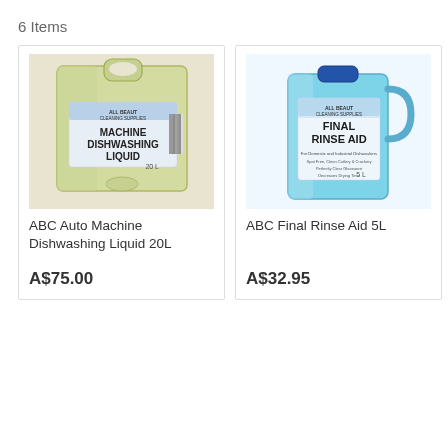6 Items
[Figure (photo): Large 20L yellow/green container of ABC Auto Machine Dishwashing Liquid, labeled 'MACHINE DISHWASHING LIQUID 20L', All Beaut Cleaning Supplies brand]
ABC Auto Machine Dishwashing Liquid 20L
A$75.00
[Figure (photo): 5L blue container of ABC Final Rinse Aid, labeled 'FINAL RINSE AID 5L', All Beaut Cleaning Supplies brand]
ABC Final Rinse Aid 5L
A$32.95